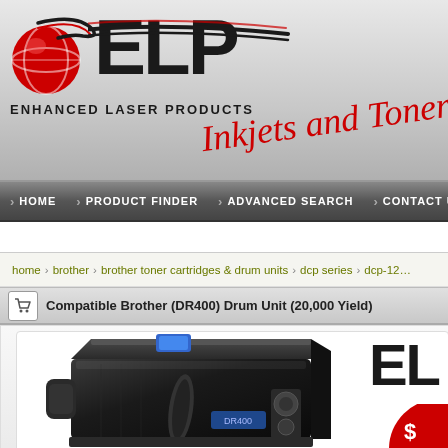[Figure (logo): ELP Enhanced Laser Products logo with red globe graphic and 'Inkjets and Toners' text in red italic script]
HOME · PRODUCT FINDER · ADVANCED SEARCH · CONTACT US
home > brother > brother toner cartridges & drum units > dcp series > dcp-12...
Compatible Brother (DR400) Drum Unit (20,000 Yield)
[Figure (photo): Black Brother DR400 drum unit cartridge with blue accent, shown at an angle. ELP logo visible in upper right corner, red price badge partially visible.]